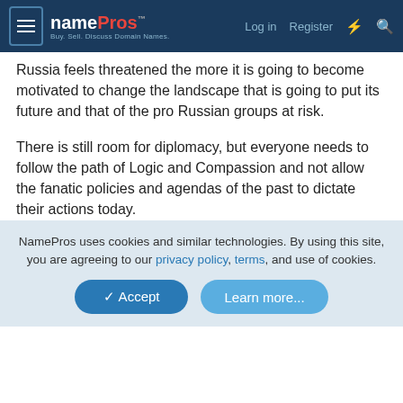namePros — Log in  Register
Russia feels threatened the more it is going to become motivated to change the landscape that is going to put its future and that of the pro Russian groups at risk.

There is still room for diplomacy, but everyone needs to follow the path of Logic and Compassion and not allow the fanatic policies and agendas of the past to dictate their actions today.

IMO
Last edited: Feb 19,
NamePros uses cookies and similar technologies. By using this site, you are agreeing to our privacy policy, terms, and use of cookies.